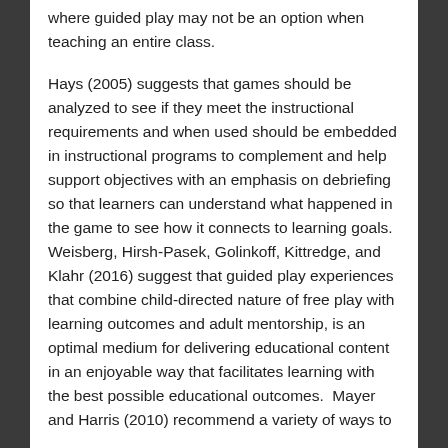where guided play may not be an option when teaching an entire class.
Hays (2005) suggests that games should be analyzed to see if they meet the instructional requirements and when used should be embedded in instructional programs to complement and help support objectives with an emphasis on debriefing so that learners can understand what happened in the game to see how it connects to learning goals. Weisberg, Hirsh-Pasek, Golinkoff, Kittredge, and Klahr (2016) suggest that guided play experiences that combine child-directed nature of free play with learning outcomes and adult mentorship, is an optimal medium for delivering educational content in an enjoyable way that facilitates learning with the best possible educational outcomes. Mayer and Harris (2010) recommend a variety of ways to